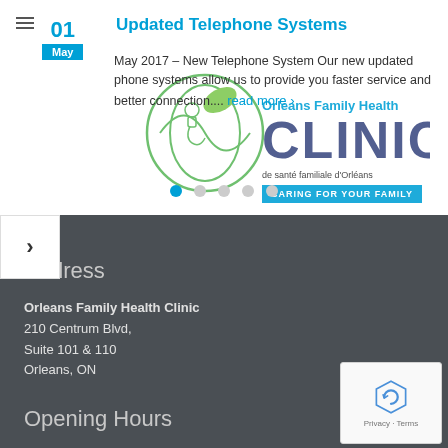Updated Telephone Systems
May 2017 – New Telephone System Our new updated phone systems allow us to provide you faster service and better connection.... read more ›
[Figure (logo): Orleans Family Health Clinic logo with green leaf and text 'de santé familiale d'Orléans CARING FOR YOUR FAMILY']
Address
Orleans Family Health Clinic
210 Centrum Blvd,
Suite 101 & 110
Orleans, ON
Opening Hours